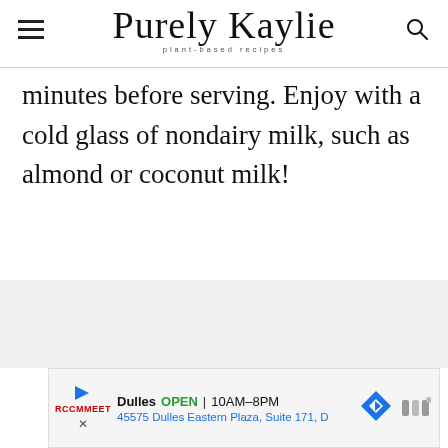Purely Kaylie — plant-based recipes
minutes before serving. Enjoy with a cold glass of nondairy milk, such as almond or coconut milk!
[Figure (screenshot): Advertisement banner for Dulles store showing open status, hours 10AM-8PM, and address 45575 Dulles Eastern Plaza, Suite 171, D with navigation icons]